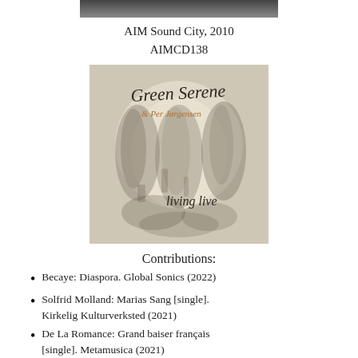[Figure (photo): Partial top edge of an album cover image, dark/grey strip]
AIM Sound City, 2010
AIMCD138
[Figure (photo): Album cover for 'Green Serene & Per Jørgensen – living live'. Pale watercolor-style image of abstract human figures with handwritten title text.]
Contributions:
Becaye: Diaspora. Global Sonics (2022)
Solfrid Molland: Marias Sang [single]. Kirkelig Kulturverksted (2021)
De La Romance: Grand baiser français [single]. Metamusica (2021)